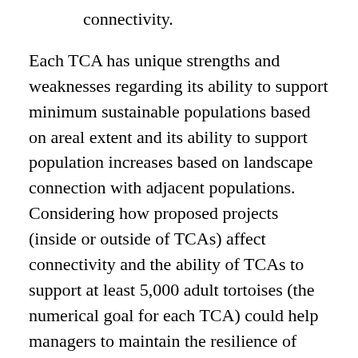connectivity.
Each TCA has unique strengths and weaknesses regarding its ability to support minimum sustainable populations based on areal extent and its ability to support population increases based on landscape connection with adjacent populations. Considering how proposed projects (inside or outside of TCAs) affect connectivity and the ability of TCAs to support at least 5,000 adult tortoises (the numerical goal for each TCA) could help managers to maintain the resilience of TCAs to population declines. The same project, in an alternative location, could have very different impacts on local and regional populations. For example, within the habitat matrix surrounding TCAs, narrowly delineated corridors may not allow for natural population dynamics if they do not accommodate overlapping home ranges along most of their widths, so that tortoises may find a, ...